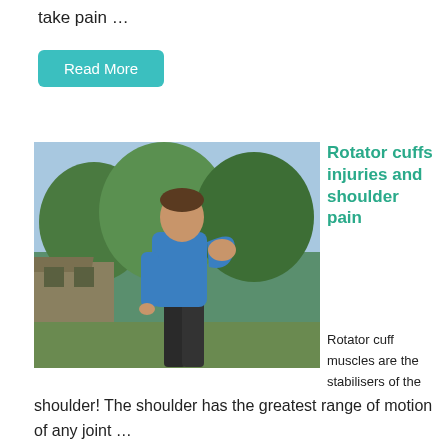take pain …
Read More
[Figure (photo): Man in blue t-shirt holding his shoulder in pain, outdoors with green trees and a building in the background.]
Rotator cuffs injuries and shoulder pain
Rotator cuff muscles are the stabilisers of the shoulder! The shoulder has the greatest range of motion of any joint …
Read More
[Figure (photo): Partial view of a person with dark background, beginning of another article.]
Instrument Assisted